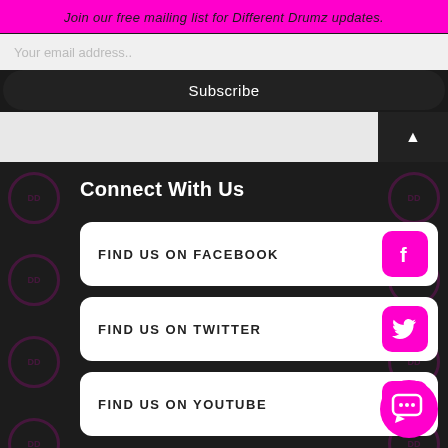Join our free mailing list for Different Drumz updates.
Your email address..
Subscribe
Connect With Us
FIND US ON FACEBOOK
FIND US ON TWITTER
FIND US ON YOUTUBE
FIND US ON SOUNDCLOUD
FIND US ON MIXCLOUD